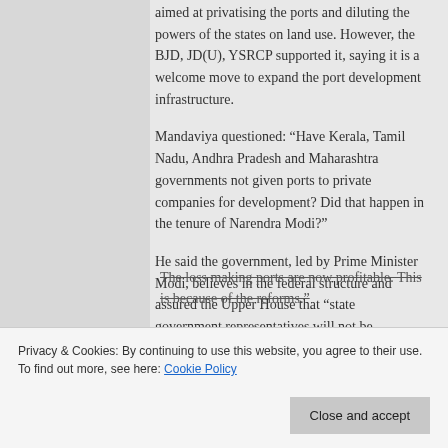aimed at privatising the ports and diluting the powers of the states on land use. However, the BJD, JD(U), YSRCP supported it, saying it is a welcome move to expand the port development infrastructure.
Mandaviya questioned: “Have Kerala, Tamil Nadu, Andhra Pradesh and Maharashtra governments not given ports to private companies for development? Did that happen in the tenure of Narendra Modi?”
He said the government, led by Prime Minister Modi, believes in the federal structure and assured the Upper House that “state government representatives will not be...
The loss making ports are now profitable. This is because of the reforms.”
Privacy & Cookies: By continuing to use this website, you agree to their use.
To find out more, see here: Cookie Policy